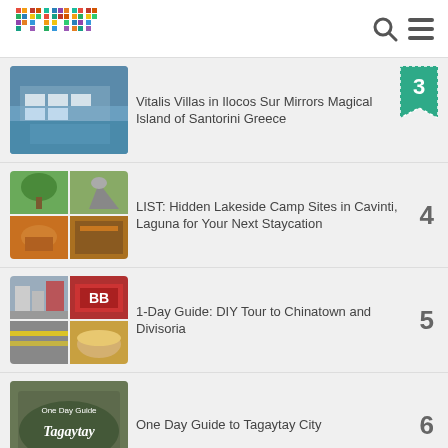[Figure (logo): Primer logo - colorful pixel grid spelling 'primer']
Vitalis Villas in Ilocos Sur Mirrors Magical Island of Santorini Greece - #3
LIST: Hidden Lakeside Camp Sites in Cavinti, Laguna for Your Next Staycation - #4
1-Day Guide: DIY Tour to Chinatown and Divisoria - #5
One Day Guide to Tagaytay City - #6
Goshen Resort in... - #7